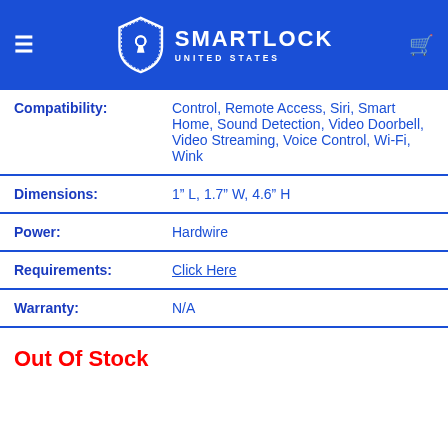SMARTLOCK UNITED STATES
| Field | Value |
| --- | --- |
| Compatibility: | Control, Remote Access, Siri, Smart Home, Sound Detection, Video Doorbell, Video Streaming, Voice Control, Wi-Fi, Wink |
| Dimensions: | 1" L, 1.7" W, 4.6" H |
| Power: | Hardwire |
| Requirements: | Click Here |
| Warranty: | N/A |
Out Of Stock